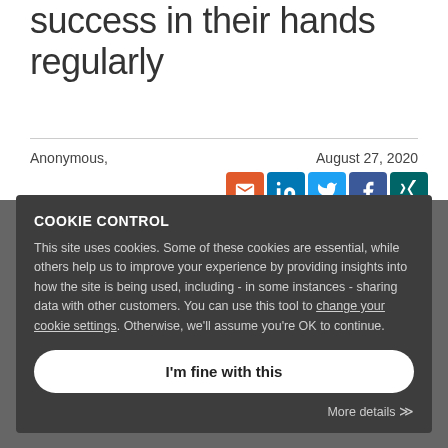success in their hands regularly
Anonymous,
August 27, 2020
COOKIE CONTROL
This site uses cookies. Some of these cookies are essential, while others help us to improve your experience by providing insights into how the site is being used, including - in some instances - sharing data with other customers. You can use this tool to change your cookie settings. Otherwise, we'll assume you're OK to continue.
I'm fine with this
More details
The video below by BJ Fogg contains a 2
...will lead to anyone creating new behaviours.
— It is important to note you do need to make the small steps easy and make sense to the person.
Since the world of business development